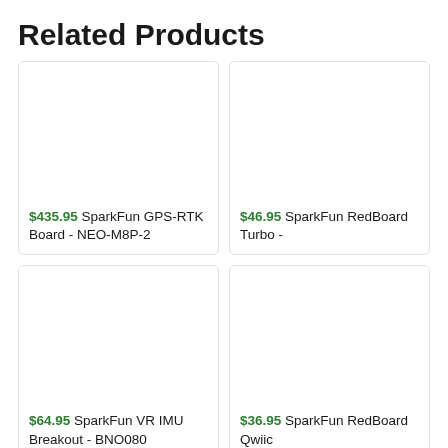Related Products
[Figure (photo): Product image placeholder for SparkFun GPS-RTK Board - NEO-M8P-2]
$435.95 SparkFun GPS-RTK Board - NEO-M8P-2
[Figure (photo): Product image placeholder for SparkFun RedBoard Turbo]
$46.95 SparkFun RedBoard Turbo -
[Figure (photo): Product image placeholder for SparkFun VR IMU Breakout - BNO080]
$64.95 SparkFun VR IMU Breakout - BNO080
[Figure (photo): Product image placeholder for SparkFun RedBoard Qwiic]
$36.95 SparkFun RedBoard Qwiic